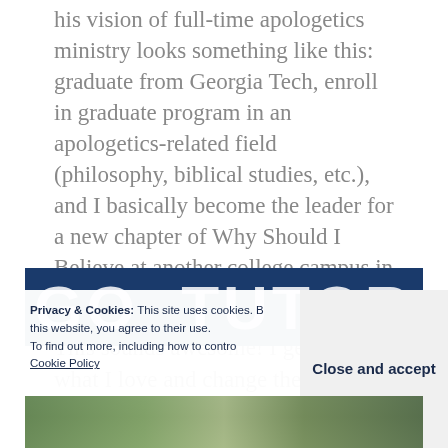his vision of full-time apologetics ministry looks something like this: graduate from Georgia Tech, enroll in graduate program in an apologetics-related field (philosophy, biblical studies, etc.), and I basically become the leader for a new chapter of Why Should I Believe at another college campus in Georgia.
This sounds awesome! I get to do what I love and change the world? Sign me up!
[Figure (screenshot): Blue banner with large white bold letters partially visible]
Privacy & Cookies: This site uses cookies. By continuing to use this website, you agree to their use.
To find out more, including how to control cookies, see here:
Cookie Policy
[Figure (photo): Bottom strip showing a photo of a person, partially visible at bottom of page]